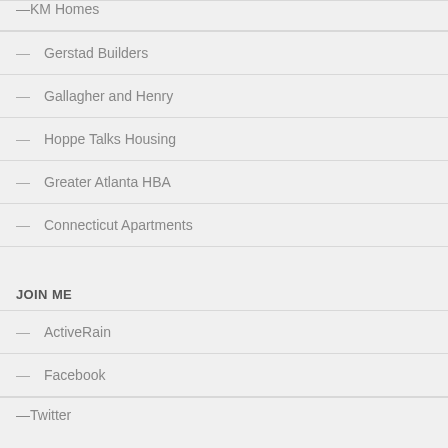KM Homes
Gerstad Builders
Gallagher and Henry
Hoppe Talks Housing
Greater Atlanta HBA
Connecticut Apartments
JOIN ME
ActiveRain
Facebook
Twitter